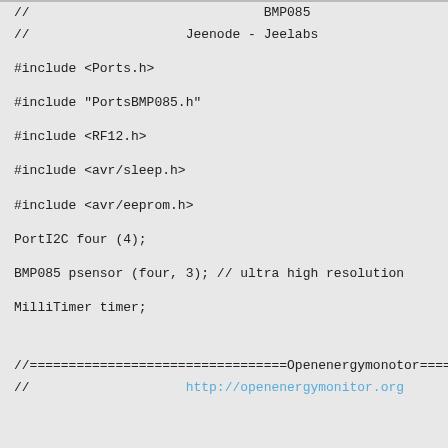//                              BMP085
//                    Jeenode - Jeelabs
#include <Ports.h>
#include "PortsBMP085.h"
#include <RF12.h>
#include <avr/sleep.h>
#include <avr/eeprom.h>
PortI2C four (4);
BMP085 psensor (four, 3); // ultra high resolution
MilliTimer timer;
//=================================Openenergymonotor=========
//                    http://openenergymonitor.org
//---------------------------------------------------------------------------
// RF12 settings
//---------------------------------------------------------------------------